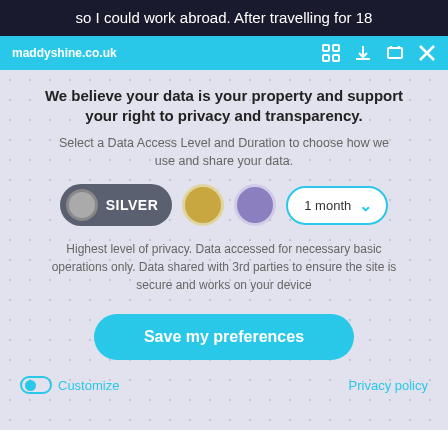so I could work abroad. After travelling for 18
maddyshine.co.uk
We believe your data is your property and support your right to privacy and transparency.
Select a Data Access Level and Duration to choose how we use and share your data.
[Figure (screenshot): Data access level selector with SILVER toggle selected, gold circle, purple circle, and 1 month dropdown]
Highest level of privacy. Data accessed for necessary basic operations only. Data shared with 3rd parties to ensure the site is secure and works on your device
Save my preferences
Customize
Privacy policy